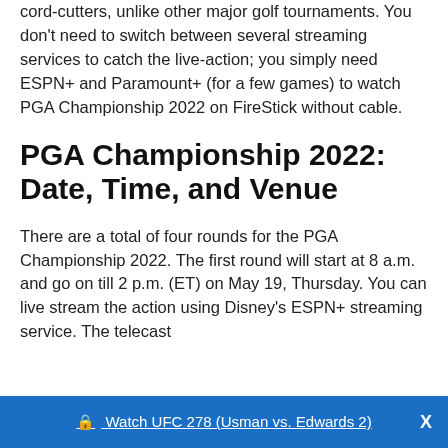cord-cutters, unlike other major golf tournaments. You don't need to switch between several streaming services to catch the live-action; you simply need ESPN+ and Paramount+ (for a few games) to watch PGA Championship 2022 on FireStick without cable.
PGA Championship 2022: Date, Time, and Venue
There are a total of four rounds for the PGA Championship 2022. The first round will start at 8 a.m. and go on till 2 p.m. (ET) on May 19, Thursday. You can live stream the action using Disney's ESPN+ streaming service. The telecast
🔒 Watch UFC 278 (Usman vs. Edwards 2)